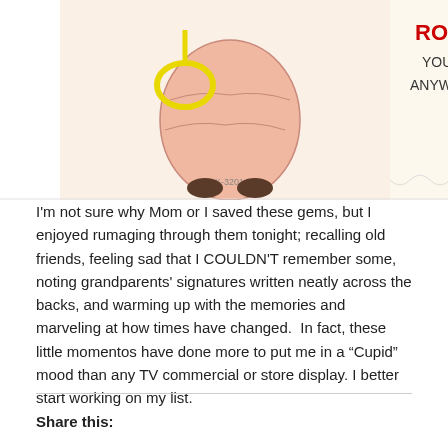[Figure (photo): Partial view of a vintage Valentine's Day card showing cartoon characters with a yellow rope, and text reading 'ROPE YOU ANYWAY' on the card's right side. A product code 'K-3201A' is visible at the bottom.]
I'm not sure why Mom or I saved these gems, but I enjoyed rumaging through them tonight; recalling old friends, feeling sad that I COULDN'T remember some, noting grandparents' signatures written neatly across the backs, and warming up with the memories and marveling at how times have changed.  In fact, these little momentos have done more to put me in a "Cupid" mood than any TV commercial or store display. I better start working on my list.
Share this: